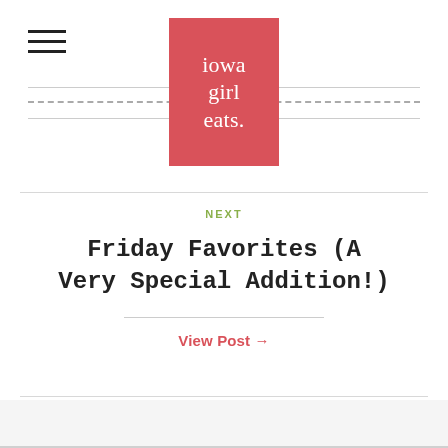[Figure (logo): Iowa Girl Eats logo: salmon/red square with white serif text reading 'iowa girl eats.' with a period]
NEXT
Friday Favorites (A Very Special Addition!)
View Post →